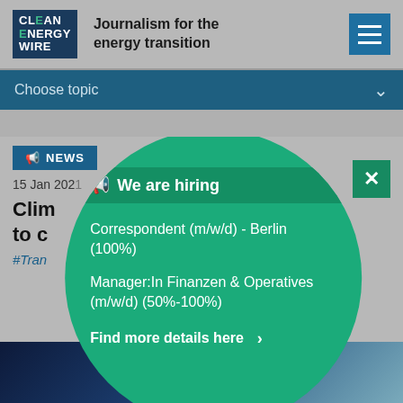CLEAN ENERGY WIRE — Journalism for the energy transition
Choose topic
NEWS
15 Jan 2021
Clim… race to c…
#Tran… in
[Figure (infographic): Green circle popup overlay with 'We are hiring' banner, listing: Correspondent (m/w/d) - Berlin (100%), Manager:In Finanzen & Operatives (m/w/d) (50%-100%), Find more details here >]
[Figure (photo): Bottom strip showing a dark blue/grey abstract image]